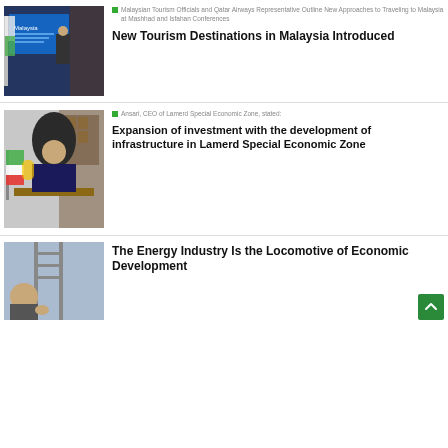[Figure (photo): Malaysian Tourism conference presentation with a speaker at a podium, Malaysia branding on screen behind]
Malaysian Tourism Officials and Qatar Airways Representative Outline New Approaches to Traveling to Malaysia at Mashhad and Isfahan Conferences
New Tourism Destinations in Malaysia Introduced
[Figure (photo): Ansari, CEO of Lamerd Special Economic Zone, seated at a desk in an office with Iranian flags visible]
Ansari, CEO of Lamerd Special Economic Zone, stated:
Expansion of investment with the development of infrastructure in Lamerd Special Economic Zone
[Figure (photo): Person speaking with industrial/energy infrastructure visible in background]
The Energy Industry Is the Locomotive of Economic Development